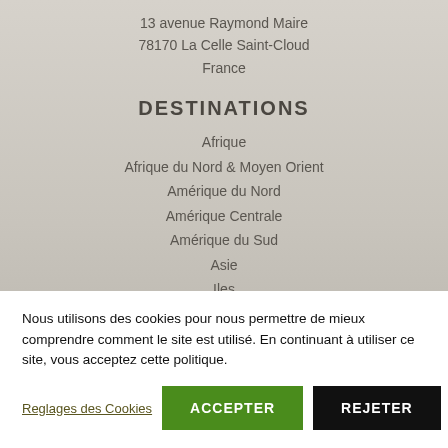13 avenue Raymond Maire
78170 La Celle Saint-Cloud
France
DESTINATIONS
Afrique
Afrique du Nord & Moyen Orient
Amérique du Nord
Amérique Centrale
Amérique du Sud
Asie
Iles
Europe
Pacifique
Nous utilisons des cookies pour nous permettre de mieux comprendre comment le site est utilisé. En continuant à utiliser ce site, vous acceptez cette politique.
Reglages des Cookies | ACCEPTER | REJETER